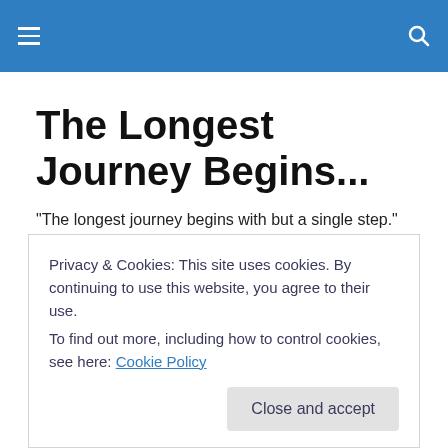The Longest Journey Begins...
"The longest journey begins with but a single step." (old Chinese proverb)
TAGGED WITH PUBLIC SEXUALITY
Privacy & Cookies: This site uses cookies. By continuing to use this website, you agree to their use.
To find out more, including how to control cookies, see here: Cookie Policy